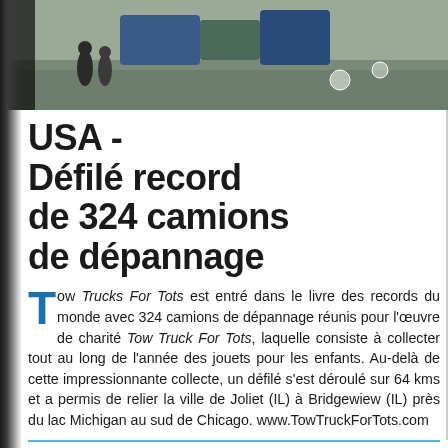[Figure (photo): Aerial or elevated view of tow trucks and people in a parking lot or roadway area, partial view at top of page]
USA - Défilé record de 324 camions de dépannage
Tow Trucks For Tots est entré dans le livre des records du monde avec 324 camions de dépannage réunis pour l'œuvre de charité Tow Truck For Tots, laquelle consiste à collecter tout au long de l'année des jouets pour les enfants. Au-delà de cette impressionnante collecte, un défilé s'est déroulé sur 64 kms et a permis de relier la ville de Joliet (IL) à Bridgewiew (IL) près du lac Michigan au sud de Chicago. www.TowTruckForTots.com